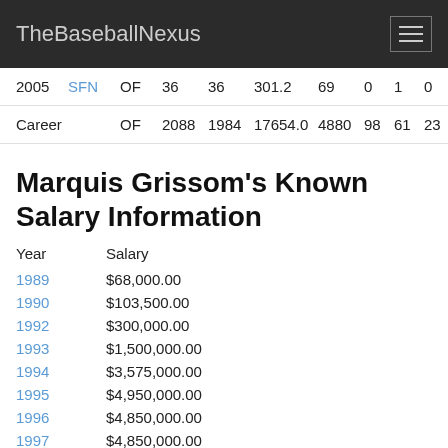TheBaseballNexus
| Year | Team | Pos |  |  |  |  |  |  |  |
| --- | --- | --- | --- | --- | --- | --- | --- | --- | --- |
| 2005 | SFN | OF | 36 | 36 | 301.2 | 69 | 0 | 1 | 0 |
| Career |  | OF | 2088 | 1984 | 17654.0 | 4880 | 98 | 61 | 23 |
Marquis Grissom's Known Salary Information
| Year | Salary |
| --- | --- |
| 1989 | $68,000.00 |
| 1990 | $103,500.00 |
| 1992 | $300,000.00 |
| 1993 | $1,500,000.00 |
| 1994 | $3,575,000.00 |
| 1995 | $4,950,000.00 |
| 1996 | $4,850,000.00 |
| 1997 | $4,850,000.00 |
| 1998 | $5,000,000.00 |
| 1999 | $5,000,000.00 |